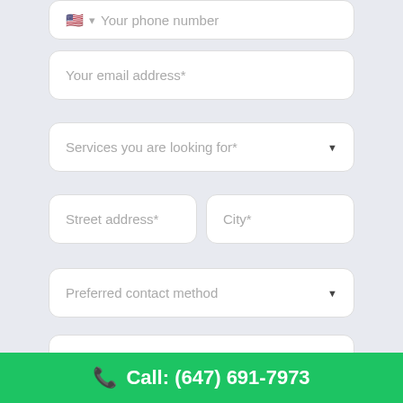[Figure (screenshot): Partial form field showing phone number input with US flag emoji]
Your email address*
Services you are looking for*
Street address*
City*
Preferred contact method
How can we help you? What services are you looking for?
Call: (647) 691-7973